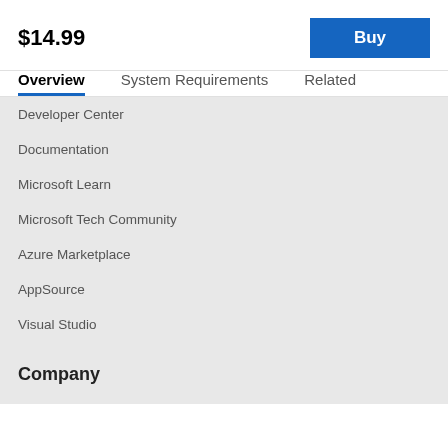$14.99
Buy
Overview
System Requirements
Related
Developer Center
Documentation
Microsoft Learn
Microsoft Tech Community
Azure Marketplace
AppSource
Visual Studio
Company
Careers
About Microsoft